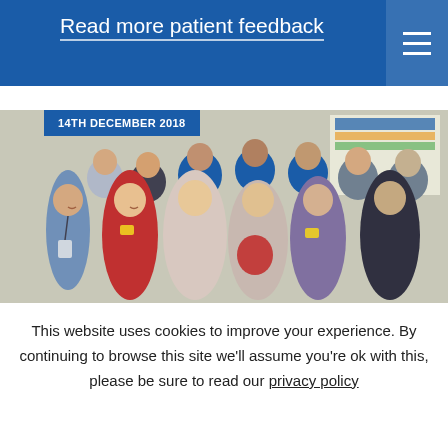Read more patient feedback
[Figure (photo): Group photo of medical staff and guests at a hospital, dated 14th December 2018. A date badge overlay reads '14TH DECEMBER 2018'. The group includes people in clinical uniforms (blue and purple scrubs) and formal attire, standing together in what appears to be a ward or clinical area.]
This website uses cookies to improve your experience. By continuing to browse this site we'll assume you're ok with this, please be sure to read our privacy policy